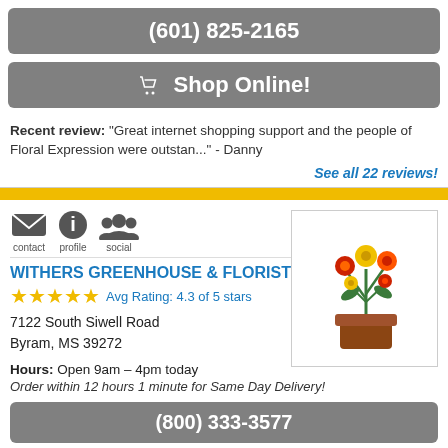(601) 825-2165
Shop Online!
Recent review: "Great internet shopping support and the people of Floral Expression were outstan..." - Danny
See all 22 reviews!
[Figure (illustration): Yellow and red flowers in a brown basket]
WITHERS GREENHOUSE & FLORIST
Avg Rating: 4.3 of 5 stars
7122 South Siwell Road
Byram, MS 39272
Hours: Open 9am – 4pm today
Order within 12 hours 1 minute for Same Day Delivery!
(800) 333-3577
(601) 373-5000